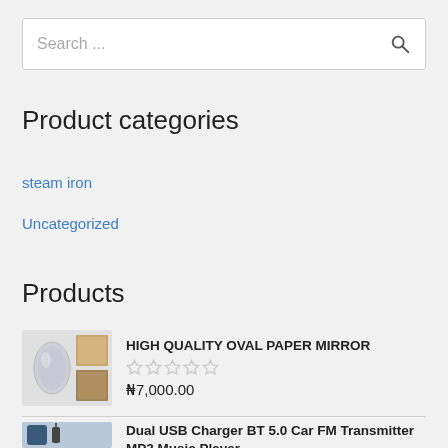Search ...
Product categories
steam iron
Uncategorized
Products
HIGH QUALITY OVAL PAPER MIRROR
★★★★★ (0 stars)
₦7,000.00
Dual USB Charger BT 5.0 Car FM Transmitter MP3 Music Player